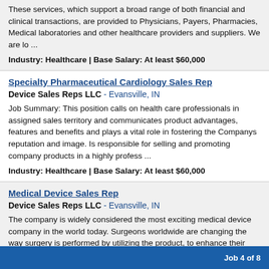These services, which support a broad range of both financial and clinical transactions, are provided to Physicians, Payers, Pharmacies, Medical laboratories and other healthcare providers and suppliers. We are lo ...
Industry: Healthcare | Base Salary: At least $60,000
Specialty Pharmaceutical Cardiology Sales Rep
Device Sales Reps LLC - Evansville, IN
Job Summary: This position calls on health care professionals in assigned sales territory and communicates product advantages, features and benefits and plays a vital role in fostering the Companys reputation and image. Is responsible for selling and promoting company products in a highly profess ...
Industry: Healthcare | Base Salary: At least $60,000
Medical Device Sales Rep
Device Sales Reps LLC - Evansville, IN
The company is widely considered the most exciting medical device company in the world today. Surgeons worldwide are changing the way surgery is performed by utilizing the product, to enhance their surgical precision and greatly improve patient benefits. They have attracted some of the best and b ...
Industry: Healthcare | Base Salary: At least $60,000
Job 4 of 8